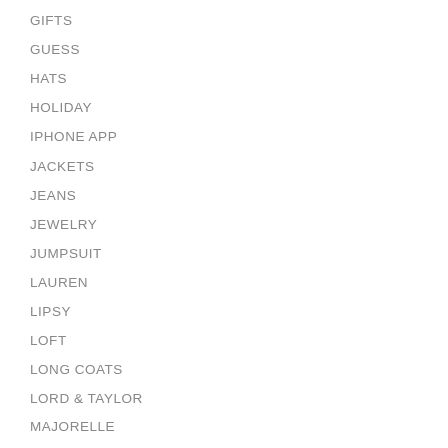GIFTS
GUESS
HATS
HOLIDAY
IPHONE APP
JACKETS
JEANS
JEWELRY
JUMPSUIT
LAUREN
LIPSY
LOFT
LONG COATS
LORD & TAYLOR
MAJORELLE
NORDSTROM